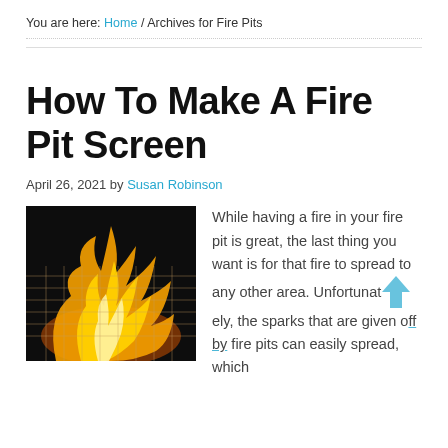You are here: Home / Archives for Fire Pits
How To Make A Fire Pit Screen
April 26, 2021 by Susan Robinson
[Figure (photo): Photo of fire with mesh screen overlay, orange and yellow flames on dark background]
While having a fire in your fire pit is great, the last thing you want is for that fire to spread to any other area. Unfortunately, the sparks that are given off by fire pits can easily spread, which